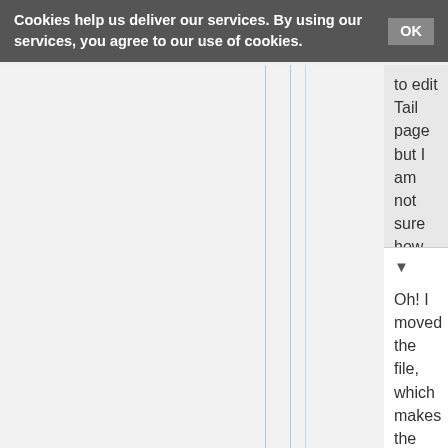Cookies help us deliver our services. By using our services, you agree to our use of cookies. OK
to edit the Fluffy Bunny Tail page but I am not sure how you made the file redirect...
Heona (talk) 20:09, 29 March 2017 Parent More
Oh! I moved the file, which makes the automatic redirect. While on the file page, near the top of the page next to Read | Edit | View history, there's "More" with a downward pointing arrow. Click that and select "Move". It'll take you to a page